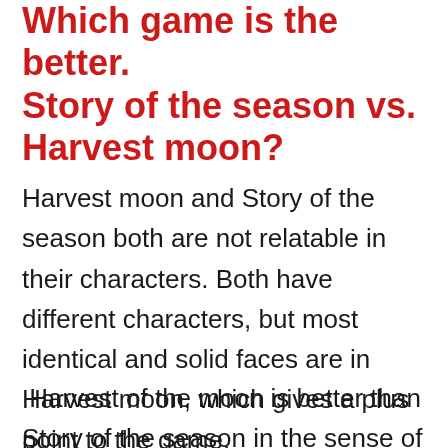Which game is the better. Story of the season vs. Harvest moon?
Harvest moon and Story of the season both are not relatable in their characters. Both have different characters, but most identical and solid faces are in Harvest moon, which gives a plus point to the game.
Harvest of the moon is better than Story of the season in the sense of an android